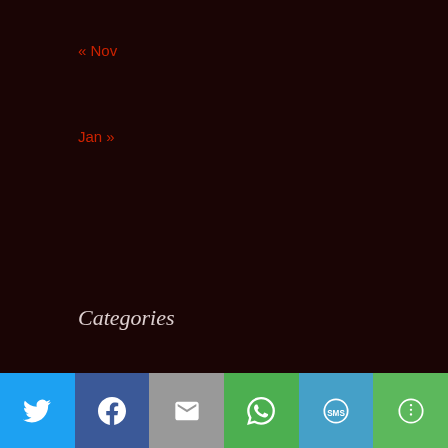« Nov
Jan »
Categories
Criminal Justice
Ethical Compliance
Indictments
Intellectual Property
Junior Associate
Law Firm
[Figure (other): Social sharing bar with icons for Twitter, Facebook, Email, WhatsApp, SMS, and More]